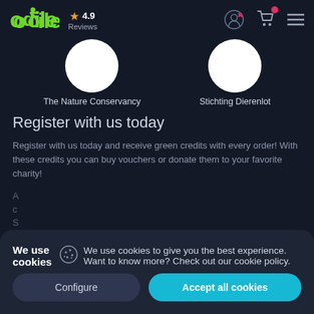oSile ★ 4.9 Reviews
[Figure (illustration): Two circular charity logos/avatars — The Nature Conservancy and Stichting Dierenlot]
The Nature Conservancy
Stichting Dierenlot
Register with us today
Register with us today and receive green credits with every order! With these credits you can buy vouchers or donate them to your favorite charity!
We use cookies  We use cookies to give you the best experience. Want to know more? Check out our cookie policy.
Configure    Accept all cookies